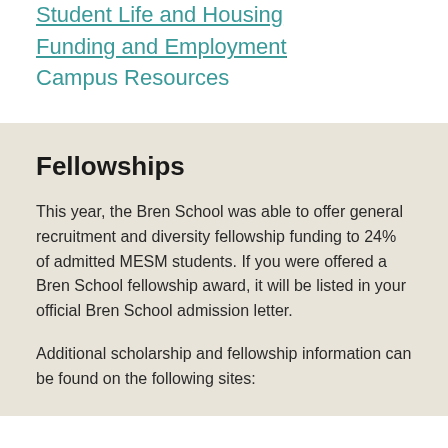Student Life and Housing
Funding and Employment
Campus Resources
Fellowships
This year, the Bren School was able to offer general recruitment and diversity fellowship funding to 24% of admitted MESM students. If you were offered a Bren School fellowship award, it will be listed in your official Bren School admission letter.
Additional scholarship and fellowship information can be found on the following sites: